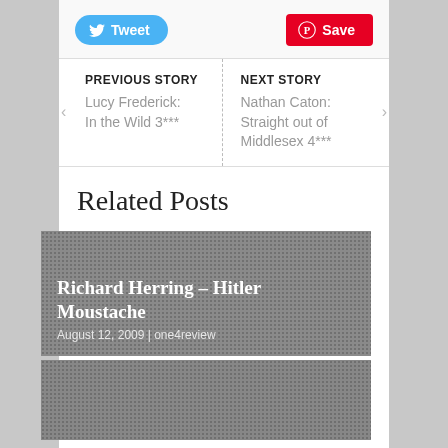[Figure (screenshot): Social sharing buttons: Tweet (Twitter, blue) and Save (Pinterest, red)]
PREVIOUS STORY
Lucy Frederick: In the Wild 3***
NEXT STORY
Nathan Caton: Straight out of Middlesex 4***
Related Posts
Richard Herring – Hitler Moustache
August 12, 2009 | one4review